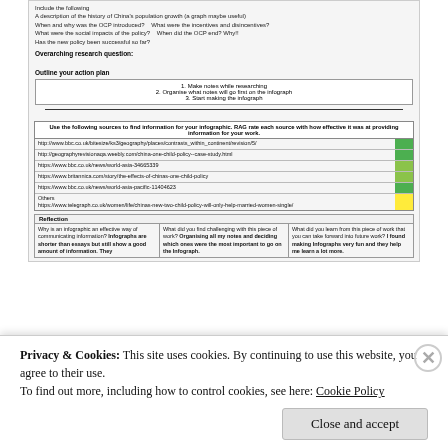Include the following: A description of the history of China's population growth (a graph maybe useful) When and why was the OCP introduced? What were the incentives and disincentives? What were the social impacts of the policy? When did the OCP end? Why!! Has the new policy been successful so far?
Overarching research question:
Outline your action plan
1. Make notes while researching
2. Organise what notes will go first on the infograph
3. Start making the infograph
| Use the following sources to find information for your infographic. RAG rate each source with how effective it was at providing information for your work. | RAG |
| --- | --- |
| http://www.bbc.co.uk/bitesize/ks3/geography/places/contrasts_within_continent/revision/5/ | green |
| http://geographyrevisionaqa.weebly.com/china-one-child-policy--case-study.html | green |
| https://www.bbc.co.uk/news/world-asia-34665339 | light-green |
| https://www.britannica.com/story/the-effects-of-chinas-one-child-policy | light-green |
| https://www.bbc.co.uk/news/world-asia-pacific-11404623 | green |
| Others
https://www.telegraph.co.uk/women/life/chinas-new-two-child-policy-will-only-help-married-women-single/ | yellow |
Reflection
| Why is an infographic an effective way of communicating information? | What did you find challenging with this piece of work? | What did you learn from this piece of work that you can take forward into future work? |
| --- | --- | --- |
| Infographs are shorter than essays but still show a good amount of information. They | Organising all my notes and deciding which ones were the most important to go on the Infograph. | I found making Infographs very fun and they help me learn a lot more. |
Privacy & Cookies: This site uses cookies. By continuing to use this website, you agree to their use.
To find out more, including how to control cookies, see here: Cookie Policy